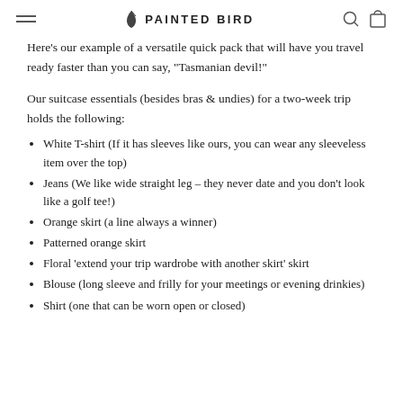PAINTED BIRD
Here's our example of a versatile quick pack that will have you travel ready faster than you can say, "Tasmanian devil!"
Our suitcase essentials (besides bras & undies) for a two-week trip holds the following:
White T-shirt (If it has sleeves like ours, you can wear any sleeveless item over the top)
Jeans (We like wide straight leg – they never date and you don't look like a golf tee!)
Orange skirt (a line always a winner)
Patterned orange skirt
Floral 'extend your trip wardrobe with another skirt' skirt
Blouse (long sleeve and frilly for your meetings or evening drinkies)
Shirt (one that can be worn open or closed)